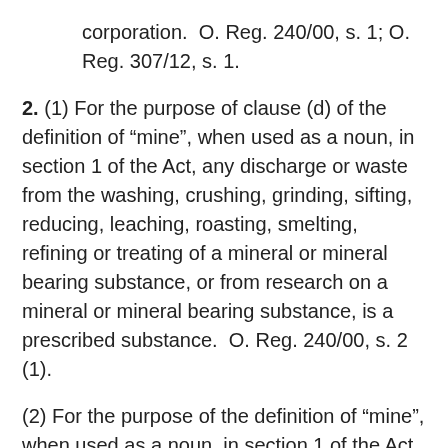corporation.  O. Reg. 240/00, s. 1; O. Reg. 307/12, s. 1.
2. (1) For the purpose of clause (d) of the definition of “mine”, when used as a noun, in section 1 of the Act, any discharge or waste from the washing, crushing, grinding, sifting, reducing, leaching, roasting, smelting, refining or treating of a mineral or mineral bearing substance, or from research on a mineral or mineral bearing substance, is a prescribed substance.  O. Reg. 240/00, s. 2 (1).
(2) For the purpose of the definition of “mine”, when used as a noun, in section 1 of the Act, the following constitute prescribed classes of plant,